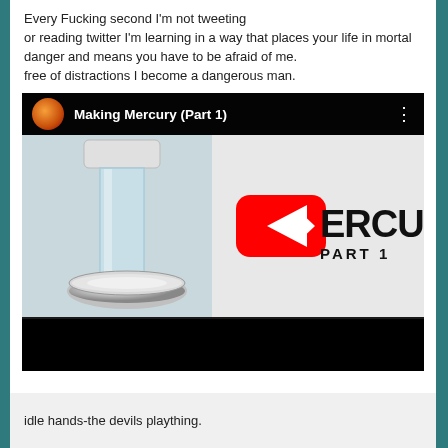Every Fucking second I'm not tweeting or reading twitter I'm learning in a way that places your life in mortal danger and means you have to be afraid of me. free of distractions I become a dangerous man.
[Figure (screenshot): YouTube video thumbnail for 'Making Mercury (Part 1)' showing a glass bottle with white cap and a chrome disc/puck, with YouTube play button overlay and text 'ERCURY PART 1']
idle hands-the devils plaything.